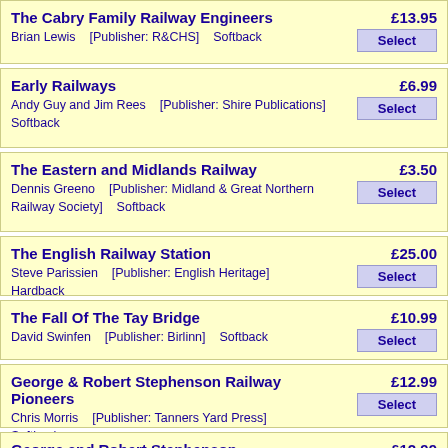The Cabry Family Railway Engineers
Brian Lewis    [Publisher: R&CHS]    Softback
£13.95  Select
Early Railways
Andy Guy and Jim Rees    [Publisher: Shire Publications]    Softback
£6.99  Select
The Eastern and Midlands Railway
Dennis Greeno    [Publisher: Midland & Great Northern Railway Society]    Softback
£3.50  Select
The English Railway Station
Steve Parissien    [Publisher: English Heritage]    Hardback
£25.00  Select
The Fall Of The Tay Bridge
David Swinfen    [Publisher: Birlinn]    Softback
£10.99  Select
George & Robert Stephenson Railway Pioneers
Chris Morris    [Publisher: Tanners Yard Press]    Softback
£12.99  Select
George and Robert Stephenson
L.T.C. Rolt    [Publisher: Amberley Publishing]    Softback
£12.99  Select